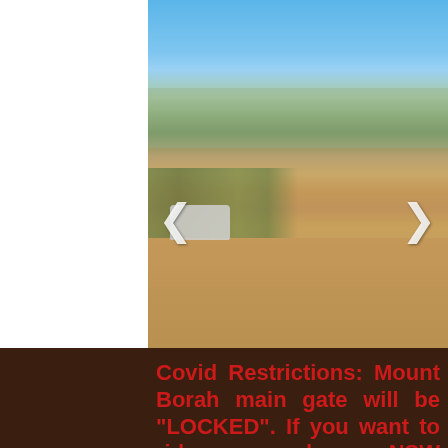[Figure (photo): Group of mountain bikers with bicycles posing on a dirt track with panoramic valley and mountain view under clear blue sky, with navigation arrows (< and >) overlaid on left and right sides of the image]
Covid Restrictions: Mount Borah main gate will be "LOCKED". If you want to ride and NSW Government restriction allow,